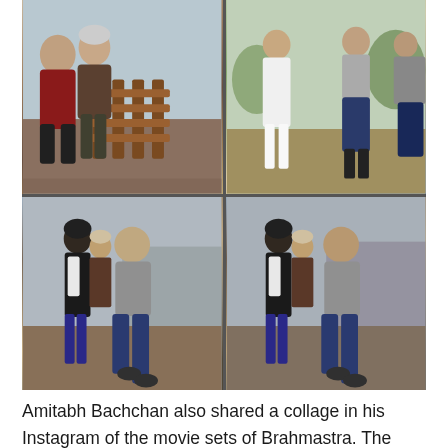[Figure (photo): A 2x2 collage of behind-the-scenes photos from the movie Brahmastra showing Amitabh Bachchan with other cast and crew members on set. Top-left: two people seated with stacked wooden chairs visible. Top-right: group of people standing outdoors on a hillside set. Bottom-left and bottom-right: a person in a grey t-shirt and jeans interacting with others including someone in a black outfit with white accents.]
Amitabh Bachchan also shared a collage in his Instagram of the movie sets of Brahmastra. The